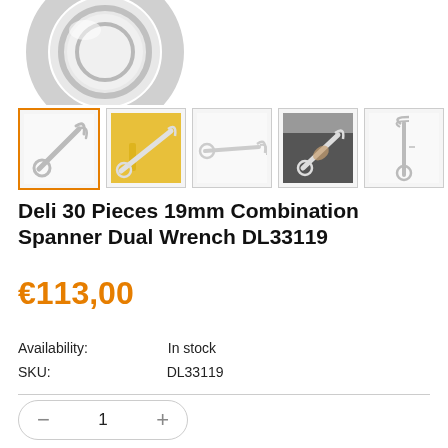[Figure (photo): Partial view of a chrome ring/socket tool cropped at top of page]
[Figure (photo): Thumbnail 1: Combination wrench on white background (active/selected, orange border)]
[Figure (photo): Thumbnail 2: Combination wrench on yellow background held by hand]
[Figure (photo): Thumbnail 3: Combination wrench on white background, side view]
[Figure (photo): Thumbnail 4: Person in dark clothing holding a combination wrench]
[Figure (photo): Thumbnail 5: Combination wrench on white background, vertical orientation]
Deli 30 Pieces 19mm Combination Spanner Dual Wrench DL33119
€113,00
Availability: In stock
SKU: DL33119
1